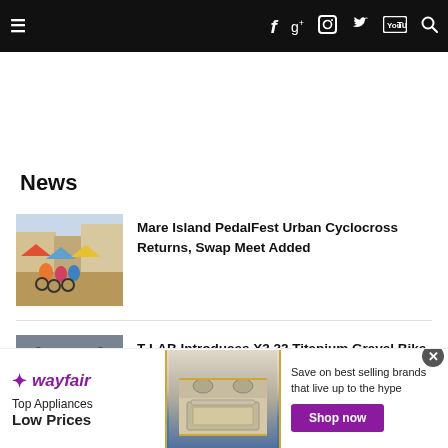Navigation bar with hamburger menu, social icons (Facebook, Google+, Instagram, Twitter, YouTube) and search
News
[Figure (photo): Cyclists racing in a cyclocross event on sandy/muddy terrain with colorful tents and buildings in background]
Mare Island PedalFest Urban Cyclocross Returns, Swap Meet Added
[Figure (photo): Close-up of a titanium gravel bike's handlebars and frame against a grey background]
T-LAB Introduces X3.22 Titanium Gravel Bike and Frameset
[Figure (infographic): Wayfair advertisement banner: Top Appliances Low Prices with stove image, Save on best selling brands that live up to the hype, Shop now button]